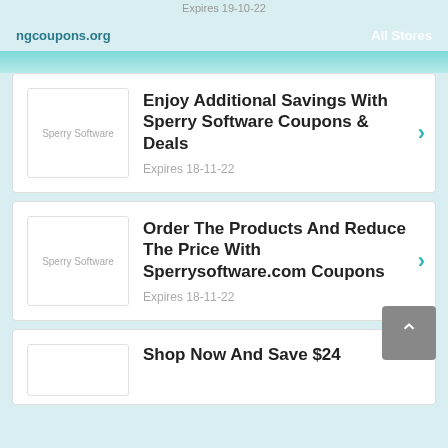ngcoupons.org   All Stores
Enjoy Additional Savings With Sperry Software Coupons & Deals
Expires 18-11-22
Order The Products And Reduce The Price With Sperrysoftware.com Coupons
Expires 18-11-22
Shop Now And Save $24